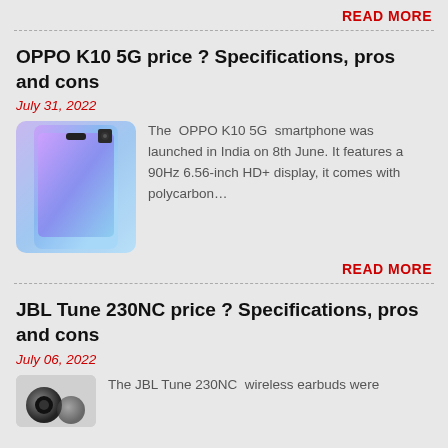READ MORE
OPPO K10 5G price ? Specifications, pros and cons
July 31, 2022
[Figure (photo): OPPO K10 5G smartphone image showing the phone in a blue/purple gradient color]
The OPPO K10 5G smartphone was launched in India on 8th June. It features a 90Hz 6.56-inch HD+ display, it comes with polycarbon…
READ MORE
JBL Tune 230NC price ? Specifications, pros and cons
July 06, 2022
[Figure (photo): JBL Tune 230NC wireless earbuds image, small black earbuds]
The JBL Tune 230NC wireless earbuds were